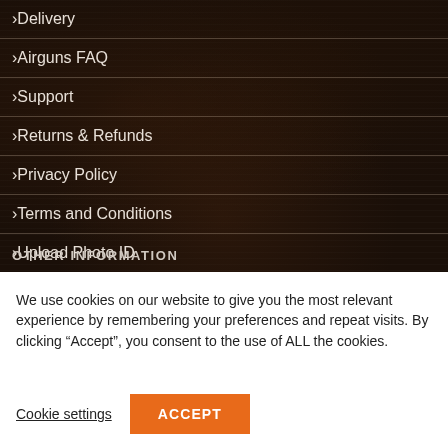Delivery
Airguns FAQ
Support
Returns & Refunds
Privacy Policy
Terms and Conditions
Upload Photo ID
OTHER INFORMATION
We use cookies on our website to give you the most relevant experience by remembering your preferences and repeat visits. By clicking “Accept”, you consent to the use of ALL the cookies.
Cookie settings
ACCEPT